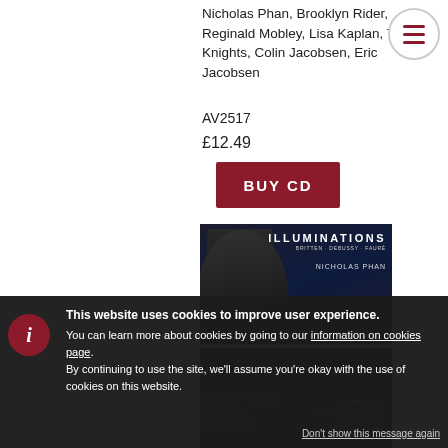Nicholas Phan, Brooklyn Rider, Reginald Mobley, Lisa Kaplan, The Knights, Colin Jacobsen, Eric Jacobsen
AV2517
£12.49
BUY CD
[Figure (photo): Album cover for 'Illuminations' featuring Nicholas Phan against a dark background, with text 'ILLUMINATIONS BRITTEN · DEBUSSY · FAURÉ NICHOLAS PHAN']
[Figure (photo): Dark album cover partially visible with small text on the right side]
The Knights
AV2382
This website uses cookies to improve user experience. You can learn more about cookies by going to our information on cookies page. By continuing to use the site, we'll assume you're okay with the use of cookies on this website.
Don't show this message again